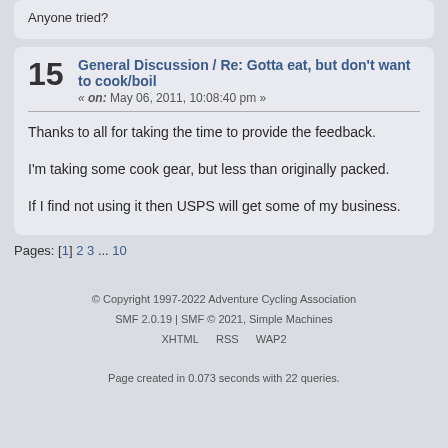Anyone tried?
15  General Discussion / Re: Gotta eat, but don't want to cook/boil
« on: May 06, 2011, 10:08:40 pm »
Thanks to all for taking the time to provide the feedback.

I'm taking some cook gear, but less than originally packed.

If I find not using it then USPS will get some of my business.
Pages: [1] 2 3 ... 10
© Copyright 1997-2022 Adventure Cycling Association
SMF 2.0.19 | SMF © 2021, Simple Machines
XHTML   RSS   WAP2
Page created in 0.073 seconds with 22 queries.